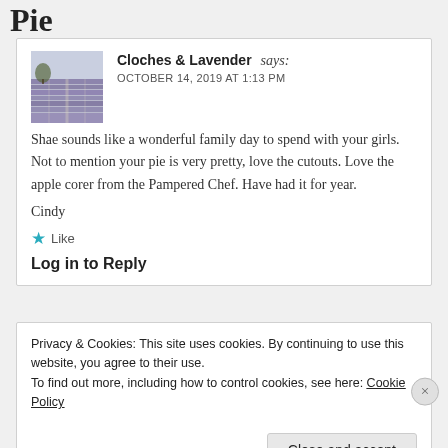Pie
Cloches & Lavender says:
OCTOBER 14, 2019 AT 1:13 PM
Shae sounds like a wonderful family day to spend with your girls. Not to mention your pie is very pretty, love the cutouts. Love the apple corer from the Pampered Chef. Have had it for year.

Cindy

★ Like

Log in to Reply
Privacy & Cookies: This site uses cookies. By continuing to use this website, you agree to their use.
To find out more, including how to control cookies, see here: Cookie Policy

Close and accept